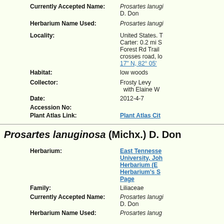Currently Accepted Name: Prosartes lanuginosa D. Don
Herbarium Name Used: Prosartes lanuginosa
Locality: United States. Tennessee. Carter: 0.2 mi S of Forest Rd Trail crosses road, lo... 17" N, 82° 05'
Habitat: low woods
Collector: Frosty Levy with Elaine W
Date: 2012-4-7
Accession No:
Plant Atlas Link: Plant Atlas Cit...
Prosartes lanuginosa (Michx.) D. Don
Herbarium: East Tennessee University, John Herbarium (E... Herbarium's S... Page
Family: Liliaceae
Currently Accepted Name: Prosartes lanuginosa D. Don
Herbarium Name Used: Prosartes lanug... United Sta...